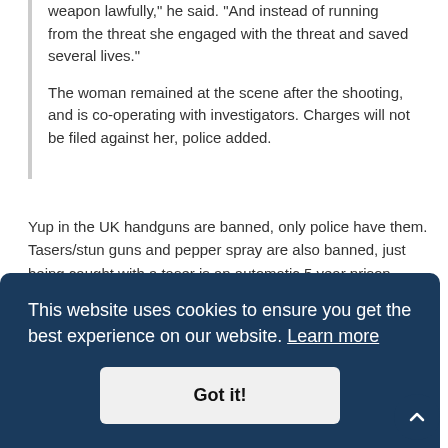weapon lawfully," he said. "And instead of running from the threat she engaged with the threat and saved several lives."
The woman remained at the scene after the shooting, and is co-operating with investigators. Charges will not be filed against her, police added.
Yup in the UK handguns are banned, only police have them. Tasers/stun guns and pepper spray are also banned, just being caught with a taser is an automatic 5 year prison sentence. More and more police are carrying tasers in the UK.
This website uses cookies to ensure you get the best experience on our website. Learn more
Got it!